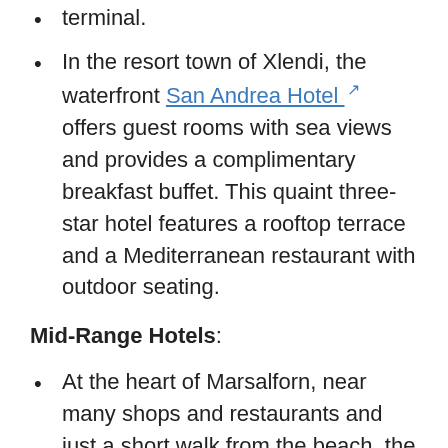terminal.
In the resort town of Xlendi, the waterfront San Andrea Hotel offers guest rooms with sea views and provides a complimentary breakfast buffet. This quaint three-star hotel features a rooftop terrace and a Mediterranean restaurant with outdoor seating.
Mid-Range Hotels:
At the heart of Marsalforn, near many shops and restaurants and just a short walk from the beach, the Maria Giovanna Guest House is a delightful family-run bed & breakfast. This popular guesthouse offers lovely rooms decorated in classic Maltese style, and delicious